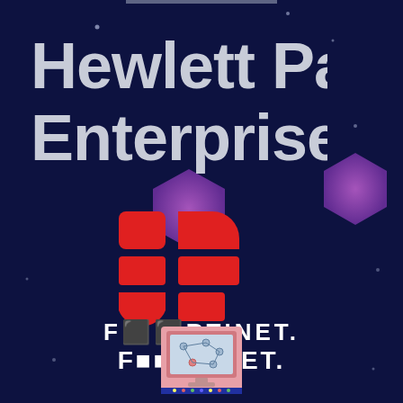[Figure (logo): Hewlett Packard Enterprise logo text in large grey/silver bold font on dark navy background]
[Figure (logo): Fortinet logo: red shield/grid icon above white FORTINET text on dark navy background]
[Figure (illustration): Small pink/salmon colored thumbnail image at the bottom showing a network diagram on a computer screen]